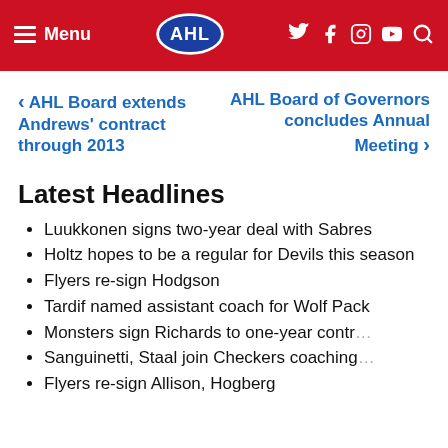Menu | AHL | Social icons
< AHL Board extends Andrews' contract through 2013
AHL Board of Governors concludes Annual Meeting >
Latest Headlines
Luukkonen signs two-year deal with Sabres
Holtz hopes to be a regular for Devils this season
Flyers re-sign Hodgson
Tardif named assistant coach for Wolf Pack
Monsters sign Richards to one-year contr…
Sanguinetti, Staal join Checkers coaching…
Flyers re-sign Allison, Hogberg